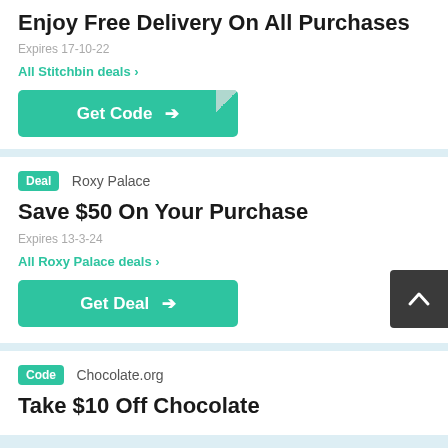Enjoy Free Delivery On All Purchases
Expires 17-10-22
All Stitchbin deals ›
Get Code →
Deal  Roxy Palace
Save $50 On Your Purchase
Expires 13-3-24
All Roxy Palace deals ›
Get Deal →
Code  Chocolate.org
Take $10 Off Chocolate